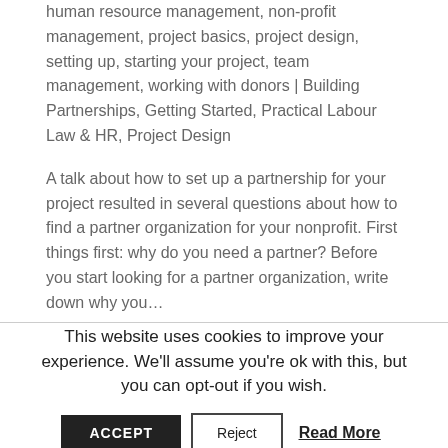for proposals, forming partnerships, fundraising, human resource management, non-profit management, project basics, project design, setting up, starting your project, team management, working with donors | Building Partnerships, Getting Started, Practical Labour Law & HR, Project Design
A talk about how to set up a partnership for your project resulted in several questions about how to find a partner organization for your nonprofit. First things first: why do you need a partner? Before you start looking for a partner organization, write down why you...
This website uses cookies to improve your experience. We'll assume you're ok with this, but you can opt-out if you wish.
ACCEPT | Reject | Read More